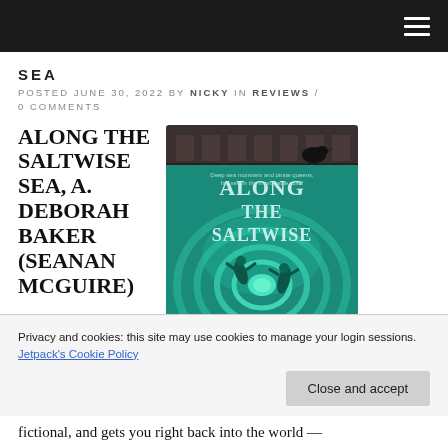SEA
POSTED JUNE 30, 2022 BY NICKY IN REVIEWS / 0 COMMENTS
ALONG THE SALTWISE SEA, A. DEBORAH BAKER (SEANAN MCGUIRE)
[Figure (photo): Book cover of 'Along the Saltwise Sea' showing teal/green ocean whirlpool with sea creatures and a raven perched on a wall above]
Privacy and cookies: this site may use cookies to manage your login sessions.
Jetpack's Cookie Policy
Close and accept
fictional, and gets you right back into the world —